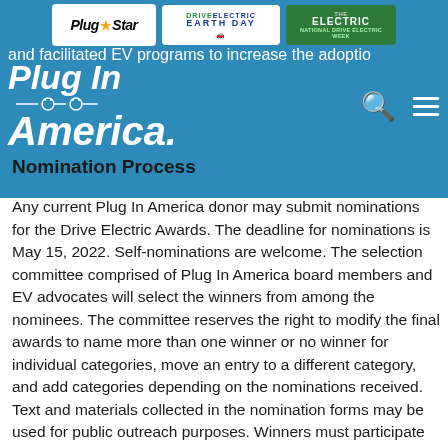[Figure (logo): Header bar with three logo badges: Plug Star, Drive Electric Earth Day, and The Electric National Drive Electric Week. Below is text 'and facilitated EV programs to increase the adoptio' truncated. Plug In America logo with italic bold text overlaid on blue background. Search and hamburger menu icons on right.]
Nomination Process
Any current Plug In America donor may submit nominations for the Drive Electric Awards. The deadline for nominations is May 15, 2022. Self-nominations are welcome. The selection committee comprised of Plug In America board members and EV advocates will select the winners from among the nominees. The committee reserves the right to modify the final awards to name more than one winner or no winner for individual categories, move an entry to a different category, and add categories depending on the nominations received. Text and materials collected in the nomination forms may be used for public outreach purposes. Winners must participate in the awards presentation in Los